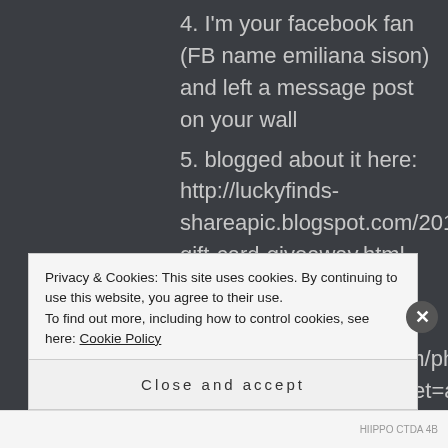4. I'm your facebook fan (FB name emiliana sison) and left a message post on your wall
5. blogged about it here: http://luckyfinds-shareapic.blogspot.com/2010/11/100-gift-card-giveaway.html
6. shared this on my FB account http://www.facebook.com/photo.php?fbid=1575528722012&set=a.1540850655508
Privacy & Cookies: This site uses cookies. By continuing to use this website, you agree to their use. To find out more, including how to control cookies, see here: Cookie Policy
Close and accept